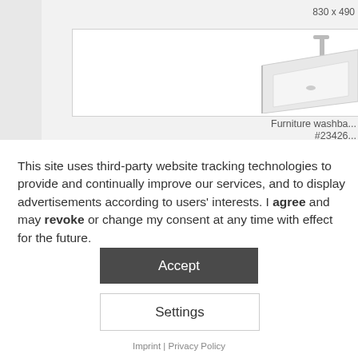830 x 490
[Figure (photo): Furniture washbasin product photo showing a rectangular white sink with a faucet, partially cropped]
Furniture washba... #23426...
This site uses third-party website tracking technologies to provide and continually improve our services, and to display advertisements according to users' interests. I agree and may revoke or change my consent at any time with effect for the future.
Accept
Settings
Imprint | Privacy Policy